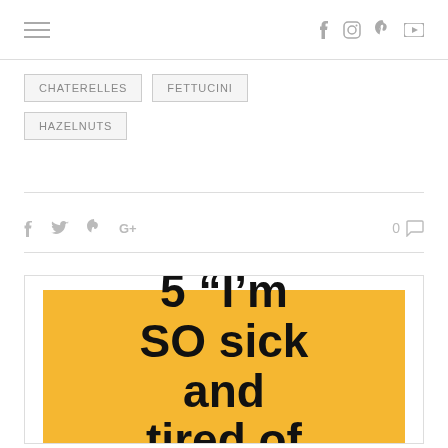Navigation header with hamburger menu and social icons (Facebook, Instagram, Pinterest, YouTube)
CHATERELLES
FETTUCINI
HAZELNUTS
Share icons: Facebook, Twitter, Pinterest, Google+  |  0 comments
[Figure (other): Yellow/gold background image with large bold black text reading: 5 “I’m SO sick and tired of]